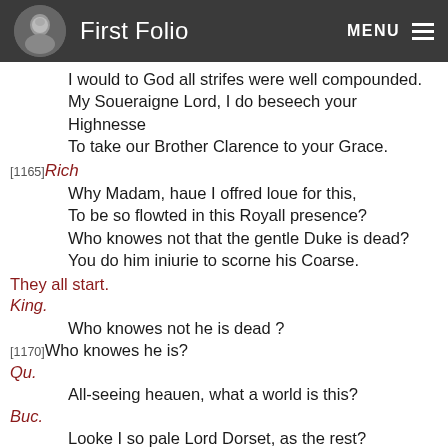First Folio  MENU
I would to God all strifes were well compounded.
My Soueraigne Lord, I do beseech your Highnesse
To take our Brother Clarence to your Grace.
[1165] Rich
Why Madam, haue I offred loue for this,
To be so flowted in this Royall presence?
Who knowes not that the gentle Duke is dead?
You do him iniurie to scorne his Coarse.
They all start.
King.
Who knowes not he is dead ?
[1170] Who knowes he is?
Qu.
All-seeing heauen, what a world is this?
Buc.
Looke I so pale Lord Dorset, as the rest?
Dor.
I my good Lord, and no man in the presence,
But his red colour hath forsooke his cheekes.
[1175] King.
Is Clarence dead? The Order was reuerst.
Rich.
But he (poore man) by your first order dyed,
And that a winged Mercurie did beare: